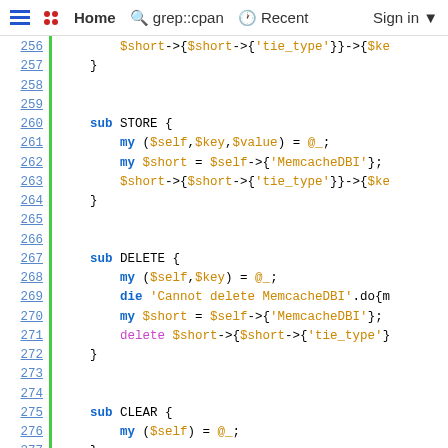Home  grep::cpan  Recent  Sign in
Perl source code lines 256-281 showing sub STORE, sub DELETE, sub CLEAR, sub FIRSTKEY